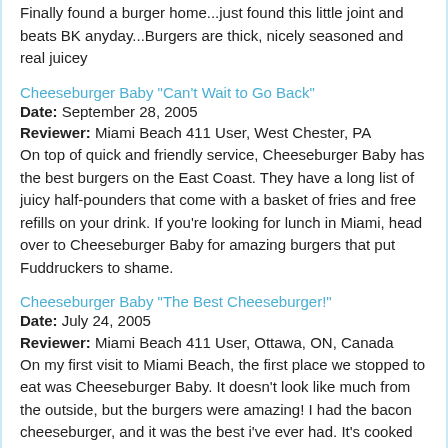Finally found a burger home...just found this little joint and beats BK anyday...Burgers are thick, nicely seasoned and real juicey
Cheeseburger Baby "Can't Wait to Go Back"
Date: September 28, 2005
Reviewer: Miami Beach 411 User, West Chester, PA
On top of quick and friendly service, Cheeseburger Baby has the best burgers on the East Coast. They have a long list of juicy half-pounders that come with a basket of fries and free refills on your drink. If you're looking for lunch in Miami, head over to Cheeseburger Baby for amazing burgers that put Fuddruckers to shame.
Cheeseburger Baby "The Best Cheeseburger!"
Date: July 24, 2005
Reviewer: Miami Beach 411 User, Ottawa, ON, Canada
On my first visit to Miami Beach, the first place we stopped to eat was Cheeseburger Baby. It doesn't look like much from the outside, but the burgers were amazing! I had the bacon cheeseburger, and it was the best i've ever had. It's cooked fresh with whatever toppings you want. I didn't even have fries with it, and I was stuffed!
Cheeseburger Baby "Freshest, tastiest burger on the East Coast!"
Date: July 15, 2005
Reviewer: Miami Beach 411 User, Atlanta, GA
This is it! By far the freshest best burger in the business!